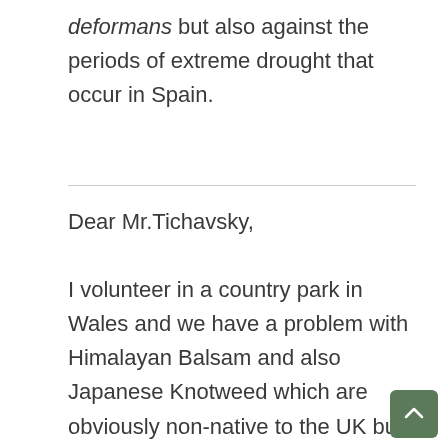deformans but also against the periods of extreme drought that occur in Spain.
Dear Mr.Tichavsky,

I volunteer in a country park in Wales and we have a problem with Himalayan Balsam and also Japanese Knotweed which are obviously non-native to the UK but also highly invasive. Current treatment protocols for treating the Japanese Knotweed involves the use of a toxic